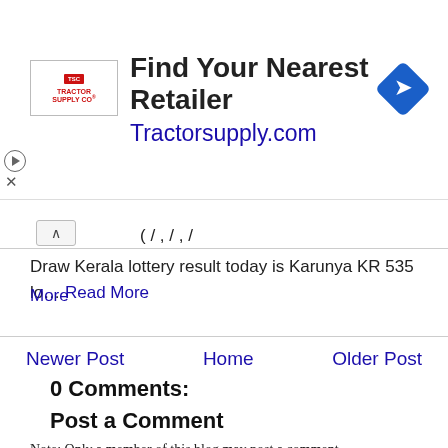[Figure (other): Advertisement banner: Tractor Supply Co logo on left, 'Find Your Nearest Retailer' headline, 'Tractorsupply.com' blue link, blue diamond direction icon on right]
Draw Kerala lottery result today is Karunya KR 535 lo… Read More
Newer Post   Home   Older Post
0 Comments:
Post a Comment
Note: Only a member of this blog may post a comment.